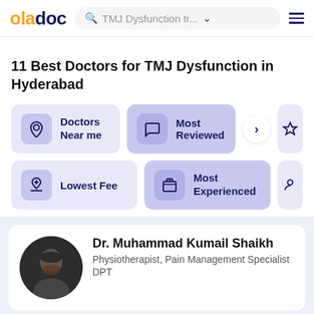oladoc — TMJ Dysfunction tr... ☰
11 Best Doctors for TMJ Dysfunction in Hyderabad
Doctors Near me
Most Reviewed
Lowest Fee
Most Experienced
Dr. Muhammad Kumail Shaikh
Physiotherapist, Pain Management Specialist
DPT